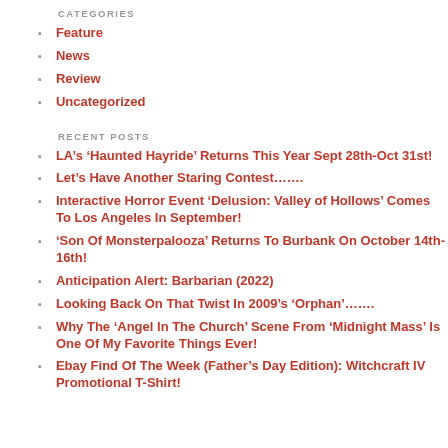CATEGORIES
Feature
News
Review
Uncategorized
RECENT POSTS
LA's ‘Haunted Hayride’ Returns This Year Sept 28th-Oct 31st!
Let’s Have Another Staring Contest…….
Interactive Horror Event ‘Delusion: Valley of Hollows’ Comes To Los Angeles In September!
‘Son Of Monsterpalooza’ Returns To Burbank On October 14th-16th!
Anticipation Alert: Barbarian (2022)
Looking Back On That Twist In 2009’s ‘Orphan’…….
Why The ‘Angel In The Church’ Scene From ‘Midnight Mass’ Is One Of My Favorite Things Ever!
Ebay Find Of The Week (Father’s Day Edition): Witchcraft IV Promotional T-Shirt!